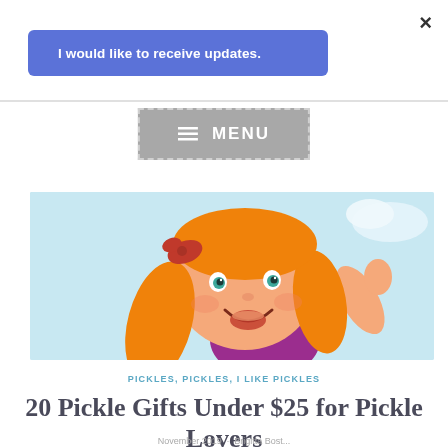×
I would like to receive updates.
≡  MENU
[Figure (illustration): Cartoon illustration of a smiling young girl with orange/blonde pigtails, wearing a purple top, waving, against a light blue background.]
PICKLES, PICKLES, I LIKE PICKLES
20 Pickle Gifts Under $25 for Pickle Lovers
November 2019 · Brigitta Bost...